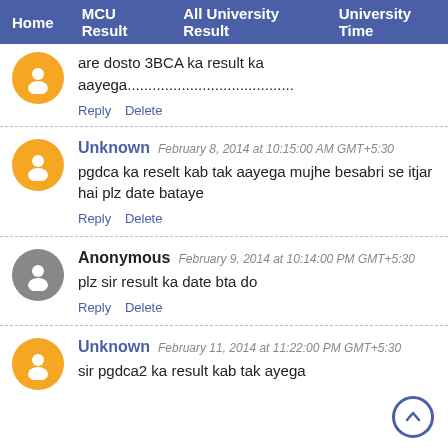Home  MCU Result  All University Result  University Time
are dosto 3BCA ka result ka aayega........................................
Reply  Delete
pgdca ka reselt kab tak aayega mujhe besabri se itjar hai plz date bataye
Reply  Delete
plz sir result ka date bta do
Reply  Delete
sir pgdca2 ka result kab tak ayega